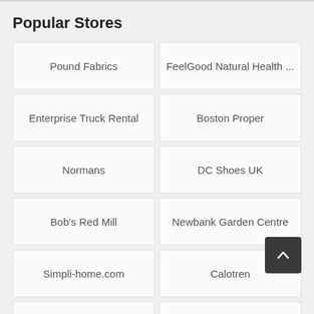Popular Stores
Pound Fabrics
FeelGood Natural Health ...
Enterprise Truck Rental
Boston Proper
Normans
DC Shoes UK
Bob's Red Mill
Newbank Garden Centre
Simpli-home.com
Calotren
Nfl Shop
Knucklebonz